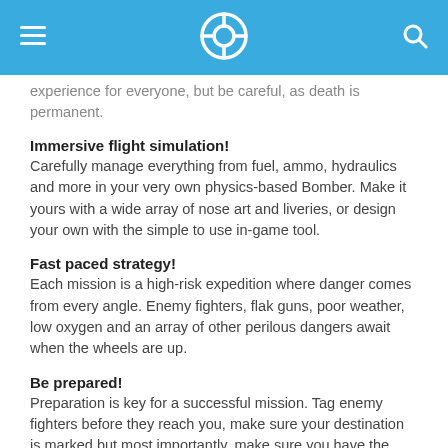experience for everyone, but be careful, as death is permanent.
Immersive flight simulation!
Carefully manage everything from fuel, ammo, hydraulics and more in your very own physics-based Bomber. Make it yours with a wide array of nose art and liveries, or design your own with the simple to use in-game tool.
Fast paced strategy!
Each mission is a high-risk expedition where danger comes from every angle. Enemy fighters, flak guns, poor weather, low oxygen and an array of other perilous dangers await when the wheels are up.
Be prepared!
Preparation is key for a successful mission. Tag enemy fighters before they reach you, make sure your destination is marked but most importantly, make sure you have the right team for the job. On a WW2 bomber, every role is essential for victory!